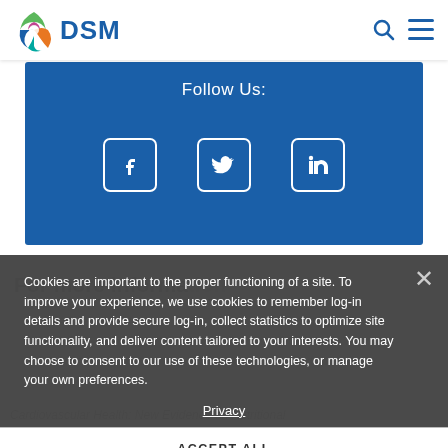DSM
[Figure (logo): DSM company logo with colorful swirl and DSM text in blue]
Follow Us:
[Figure (illustration): Blue banner with Follow Us: label and Facebook, Twitter, LinkedIn social media icons]
Cookies are important to the proper functioning of a site. To improve your experience, we use cookies to remember log-in details and provide secure log-in, collect statistics to optimize site functionality, and deliver content tailored to your interests. You may choose to consent to our use of these technologies, or manage your own preferences.
Privacy
ACCEPT ALL
DECLINE ALL
MANAGE SETTINGS
For more information
Cardiovascular Health: New Evidence on Nutritional Strategies